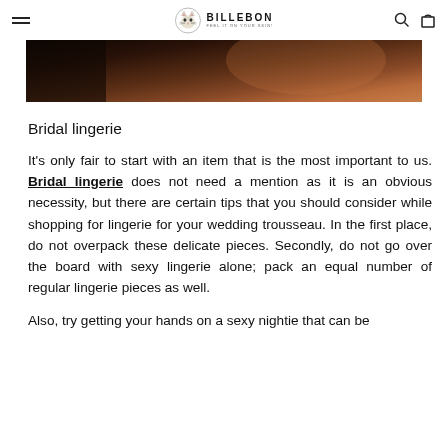BILLEBON FEEL IT ON YOUR SKIN!
[Figure (photo): Partial view of a dark-toned photo showing what appears to be lingerie/clothing on a model, cropped at the top of the page]
Bridal lingerie
It's only fair to start with an item that is the most important to us. Bridal lingerie does not need a mention as it is an obvious necessity, but there are certain tips that you should consider while shopping for lingerie for your wedding trousseau. In the first place, do not overpack these delicate pieces. Secondly, do not go over the board with sexy lingerie alone; pack an equal number of regular lingerie pieces as well.
Also, try getting your hands on a sexy nightie that can be